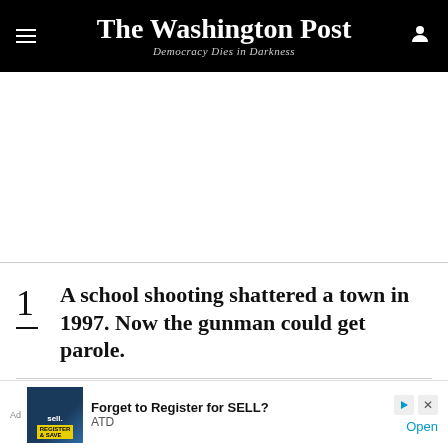The Washington Post — Democracy Dies in Darkness
A school shooting shattered a town in 1997. Now the gunman could get parole.
Man starts fires at homes and fatally
[Figure (screenshot): Advertisement banner: Forget to Register for SELL? ATD — Open]
[Figure (photo): Thumbnail image placeholder for story 2]